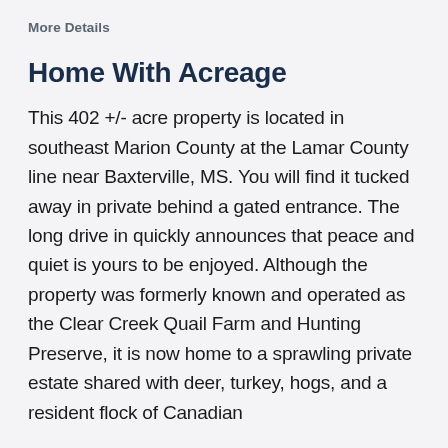More Details
Home With Acreage
This 402 +/- acre property is located in southeast Marion County at the Lamar County line near Baxterville, MS. You will find it tucked away in private behind a gated entrance. The long drive in quickly announces that peace and quiet is yours to be enjoyed. Although the property was formerly known and operated as the Clear Creek Quail Farm and Hunting Preserve, it is now home to a sprawling private estate shared with deer, turkey, hogs, and a resident flock of Canadian